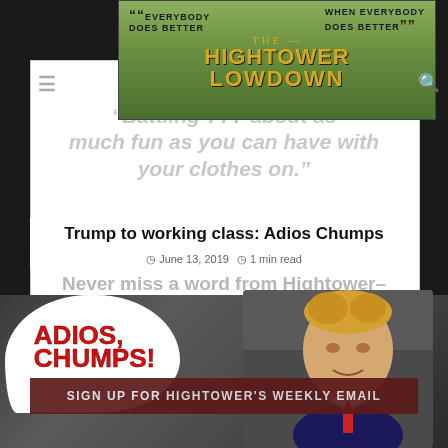[Figure (screenshot): The Hightower Lowdown website header banner with logo, 'Everybody Does Better When Everybody Does Better' tagline, menu and search icons]
"Battling ??? about as much fun as you can have with your clothes on."
Trump to working class: Adios Chumps
June 13, 2019  1 min read
Never miss a word from Hightower– sign up today:
[Figure (illustration): Illustration of Trump in a car with speech bubble saying 'ADIOS, CHUMPS!']
SIGN UP FOR HIGHTOWER'S WEEKLY EMAIL